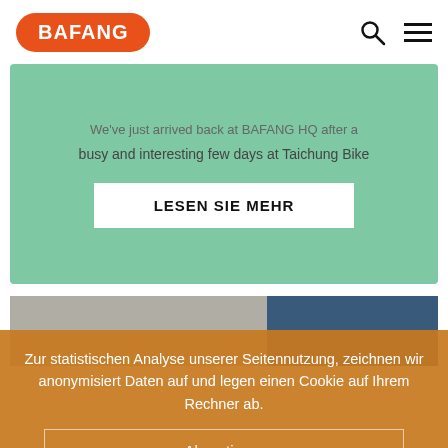BAFANG
We've just arrived back at BAFANG HQ after a busy and interesting few days at Taichung Bike
LESEN SIE MEHR
[Figure (illustration): Partial view of a world map illustration with dark blue panel on the right]
Zur statistischen Analyse unserer Seitennutzung, zeichnen wir anonymisiert Daten auf und legen einen Cookie auf Ihrem Rechner ab.
Akzeptieren
Ablehnen
Datenschutzhinweise